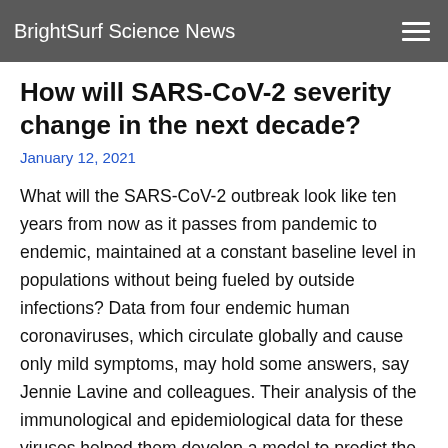BrightSurf Science News
How will SARS-CoV-2 severity change in the next decade?
January 12, 2021
What will the SARS-CoV-2 outbreak look like ten years from now as it passes from pandemic to endemic, maintained at a constant baseline level in populations without being fueled by outside infections? Data from four endemic human coronaviruses, which circulate globally and cause only mild symptoms, may hold some answers, say Jennie Lavine and colleagues. Their analysis of the immunological and epidemiological data for these viruses helped them develop a model to predict the trajectory of SARS-CoV-2 as it becomes endemic. Most importantly, the authors say, their model incorporates distinct components of immunological protection, susceptibility to reinfection